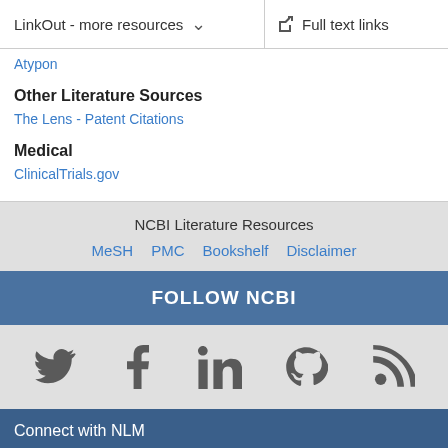LinkOut - more resources    Full text links
Atypon
Other Literature Sources
The Lens - Patent Citations
Medical
ClinicalTrials.gov
NCBI Literature Resources
MeSH   PMC   Bookshelf   Disclaimer
FOLLOW NCBI
[Figure (other): Social media icons: Twitter, Facebook, LinkedIn, GitHub, RSS]
Connect with NLM